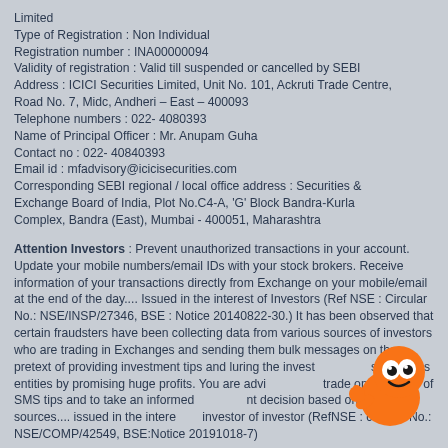Limited
Type of Registration : Non Individual
Registration number : INA00000094
Validity of registration : Valid till suspended or cancelled by SEBI
Address : ICICI Securities Limited, Unit No. 101, Ackruti Trade Centre, Road No. 7, Midc, Andheri – East – 400093
Telephone numbers : 022- 4080393
Name of Principal Officer : Mr. Anupam Guha
Contact no : 022- 40840393
Email id : mfadvisory@icicisecurities.com
Corresponding SEBI regional / local office address : Securities & Exchange Board of India, Plot No.C4-A, 'G' Block Bandra-Kurla Complex, Bandra (East), Mumbai - 400051, Maharashtra
Attention Investors : Prevent unauthorized transactions in your account. Update your mobile numbers/email IDs with your stock brokers. Receive information of your transactions directly from Exchange on your mobile/email at the end of the day.... Issued in the interest of Investors (Ref NSE : Circular No.: NSE/INSP/27346, BSE : Notice 20140822-30.) It has been observed that certain fraudsters have been collecting data from various sources of investors who are trading in Exchanges and sending them bulk messages on the pretext of providing investment tips and luring the investors to invest in bogus entities by promising huge profits. You are advised not to trade on the basis of SMS tips and to take an informed investment decision based on authentic sources.... issued in the interest of investor of investor (RefNSE : circular No.: NSE/COMP/42549, BSE:Notice 20191018-7)
[Figure (illustration): Orange cartoon mascot character with large eyes, smiling, giving thumbs up, positioned at bottom right]